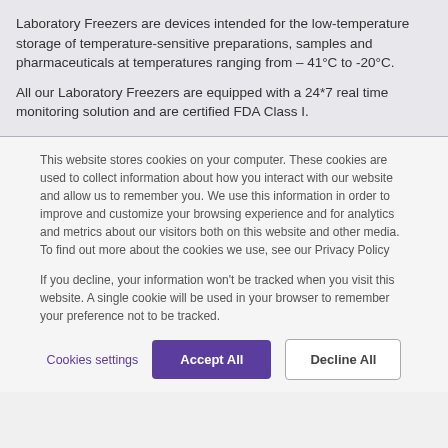Laboratory Freezers are devices intended for the low-temperature storage of temperature-sensitive preparations, samples and pharmaceuticals at temperatures ranging from – 41°C to -20°C.
All our Laboratory Freezers are equipped with a 24*7 real time monitoring solution and are certified FDA Class I.
This website stores cookies on your computer. These cookies are used to collect information about how you interact with our website and allow us to remember you. We use this information in order to improve and customize your browsing experience and for analytics and metrics about our visitors both on this website and other media. To find out more about the cookies we use, see our Privacy Policy
If you decline, your information won't be tracked when you visit this website. A single cookie will be used in your browser to remember your preference not to be tracked.
Cookies settings
Accept All
Decline All